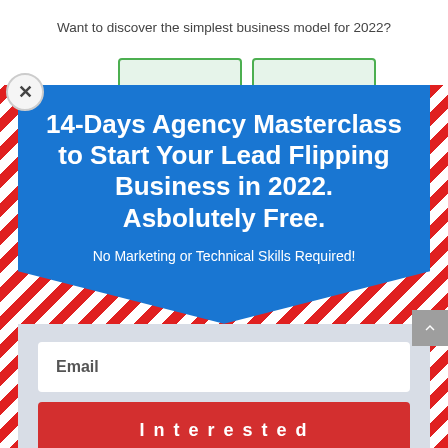Want to discover the simplest business model for 2022?
[Figure (screenshot): Modal popup overlay with red/white diagonal stripe border. Blue top section with headline '14-Days Agency Masterclass to Start Your Lead Flipping Business in 2022. Asbolutely Free.' and subtitle 'No Marketing or Technical Skills Required!'. Grey bottom section with email input field and red 'Interested' button. Close X button in top left. Background shows partial article text.]
14-Days Agency Masterclass to Start Your Lead Flipping Business in 2022. Asbolutely Free.
No Marketing or Technical Skills Required!
Email
Interested